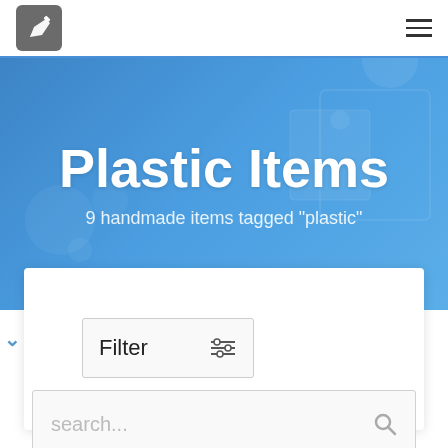Navigation bar with logo and hamburger menu
Plastic Items
9 handmade items tagged "plastic"
[Figure (screenshot): Filter button with sliders icon and search input box inside a white card panel]
Filter
search...